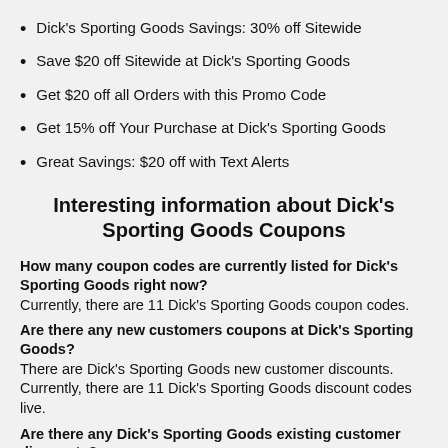Dick's Sporting Goods Savings: 30% off Sitewide
Save $20 off Sitewide at Dick's Sporting Goods
Get $20 off all Orders with this Promo Code
Get 15% off Your Purchase at Dick's Sporting Goods
Great Savings: $20 off with Text Alerts
Interesting information about Dick's Sporting Goods Coupons
How many coupon codes are currently listed for Dick's Sporting Goods right now?
Currently, there are 11 Dick's Sporting Goods coupon codes.
Are there any new customers coupons at Dick's Sporting Goods?
There are Dick's Sporting Goods new customer discounts. Currently, there are 11 Dick's Sporting Goods discount codes live.
Are there any Dick's Sporting Goods existing customer discounts?